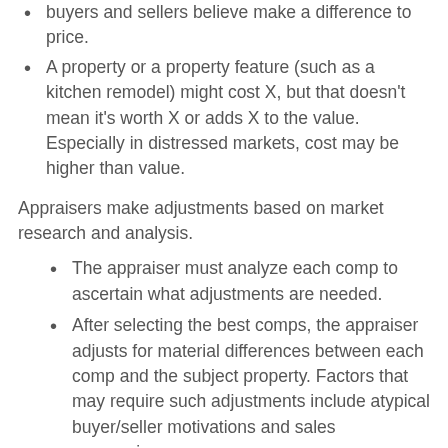buyers and sellers believe make a difference to price.
A property or a property feature (such as a kitchen remodel) might cost X, but that doesn't mean it's worth X or adds X to the value. Especially in distressed markets, cost may be higher than value.
Appraisers make adjustments based on market research and analysis.
The appraiser must analyze each comp to ascertain what adjustments are needed.
After selecting the best comps, the appraiser adjusts for material differences between each comp and the subject property. Factors that may require such adjustments include atypical buyer/seller motivations and sales concessions.